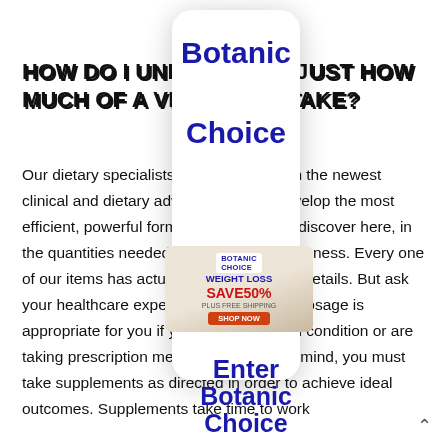HOW DO I UNDERSTAND JUST HOW MUCH OF A VITAMIN TO TAKE?
Our dietary specialists stay up to date on the newest clinical and dietary advancements to develop the most efficient, powerful formulas you will only discover here, in the quantities needed to enhance effectiveness. Every one of our items has actually Suggested Use details. But ask your healthcare expert concerning what dosage is appropriate for you if you have a medical condition or are taking prescription medications. Keep in mind, you must take supplements as directed in order to achieve ideal outcomes. Supplements take time to work
[Figure (other): Overlay of a phone-shaped white rounded-rectangle card showing the 'Botanic Choice' brand name in large blue text, with an embedded advertisement for Botanic Choice Weight Loss savings of 50% with a shop now button, and lower overlay text reading 'Enter Botanic Choice']